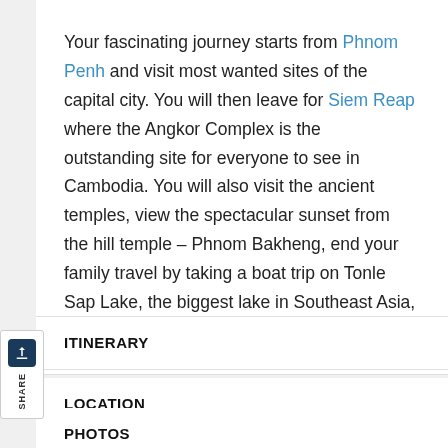Your fascinating journey starts from Phnom Penh and visit most wanted sites of the capital city. You will then leave for Siem Reap where the Angkor Complex is the outstanding site for everyone to see in Cambodia. You will also visit the ancient temples, view the spectacular sunset from the hill temple – Phnom Bakheng, end your family travel by taking a boat trip on Tonle Sap Lake, the biggest lake in Southeast Asia, to discover the floating village.
ITINERARY
LOCATION
PHOTOS